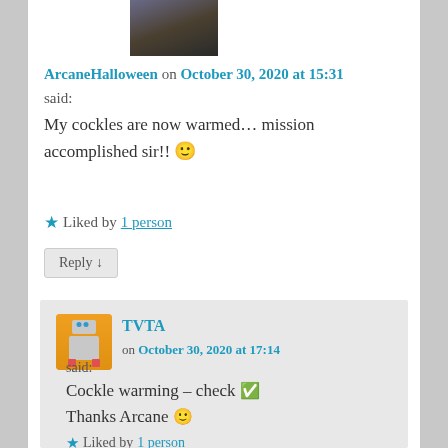[Figure (photo): Profile photo thumbnail of ArcaneHalloween, dark image at top]
ArcaneHalloween on October 30, 2020 at 15:31 said:
My cockles are now warmed... mission accomplished sir!! 🙂
★ Liked by 1 person
Reply ↓
[Figure (illustration): TVTA robot avatar on orange background]
TVTA on October 30, 2020 at 17:14 said:
Cockle warming – check ✅
Thanks Arcane 🙂
★ Liked by 1 person
Reply ↓